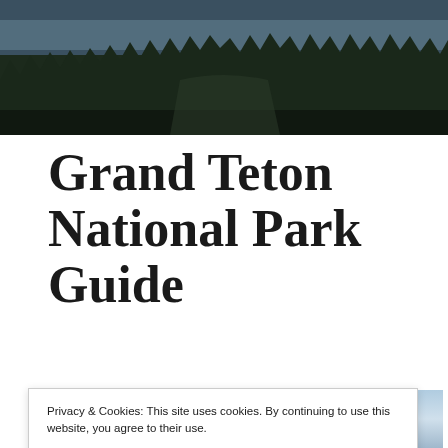[Figure (photo): Aerial/landscape photo of forested mountains with dark pine trees and misty lake or sky in background — top banner image of Grand Teton National Park]
Grand Teton National Park Guide
[Figure (photo): Outdoor landscape photo showing cloudy sky and greenery — second image on the page, partially covered by cookie banner]
Privacy & Cookies: This site uses cookies. By continuing to use this website, you agree to their use.
To find out more, including how to control cookies, see here: Cookie Policy
Close and accept